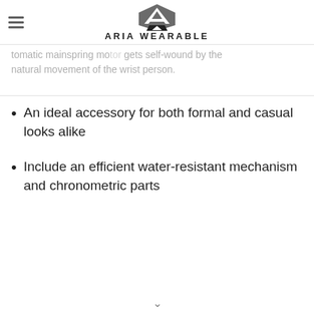ARIA WEARABLE
tomatic mainspring motor gets self-wound by the natural movement of the wrist person.
An ideal accessory for both formal and casual looks alike
Include an efficient water-resistant mechanism and chronometric parts